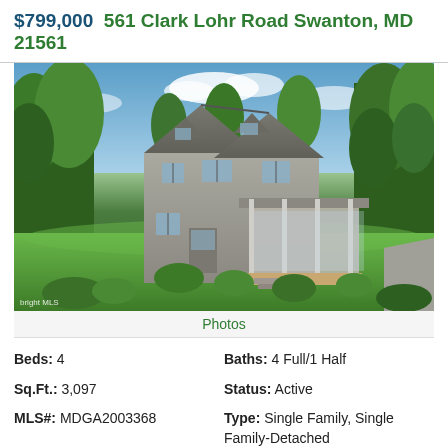$799,000  561 Clark Lohr Road Swanton, MD 21561
[Figure (photo): Exterior photo of a gray two-story Victorian-style single family home surrounded by lush green trees and landscaping, with a wraparound porch and deck, bright green lawn in foreground, overcast blue sky]
Photos
Beds: 4
Baths: 4 Full/1 Half
Sq.Ft.: 3,097
Status: Active
MLS#: MDGA2003368
Type: Single Family, Single Family-Detached
Subdivision: North Clark Hills Assessed at...